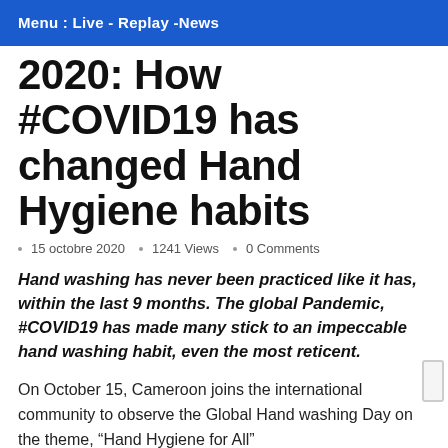Menu : Live - Replay -News
2020: How #COVID19 has changed Hand Hygiene habits
15 octobre 2020  1241 Views  0 Comments
Hand washing has never been practiced like it has, within the last 9 months. The global Pandemic, #COVID19 has made many stick to an impeccable hand washing habit, even the most reticent.
On October 15, Cameroon joins the international community to observe the Global Hand washing Day on the theme, “Hand Hygiene for All”
The event takes place amidst #COVID19, which is not yet over, at least in a good number of countries where